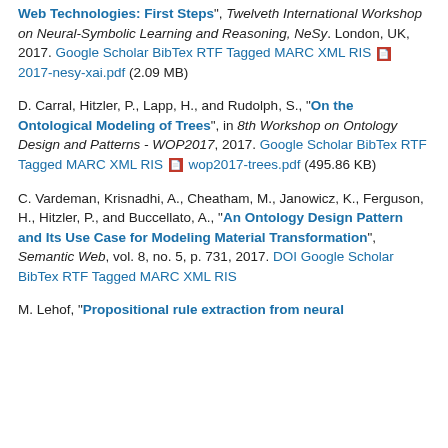Web Technologies: First Steps", Twelveth International Workshop on Neural-Symbolic Learning and Reasoning, NeSy. London, UK, 2017. Google Scholar BibTex RTF Tagged MARC XML RIS 2017-nesy-xai.pdf (2.09 MB)
D. Carral, Hitzler, P., Lapp, H., and Rudolph, S., "On the Ontological Modeling of Trees", in 8th Workshop on Ontology Design and Patterns - WOP2017, 2017. Google Scholar BibTex RTF Tagged MARC XML RIS wop2017-trees.pdf (495.86 KB)
C. Vardeman, Krisnadhi, A., Cheatham, M., Janowicz, K., Ferguson, H., Hitzler, P., and Buccellato, A., "An Ontology Design Pattern and Its Use Case for Modeling Material Transformation", Semantic Web, vol. 8, no. 5, p. 731, 2017. DOI Google Scholar BibTex RTF Tagged MARC XML RIS
M. Lehof, "Propositional rule extraction from neural...